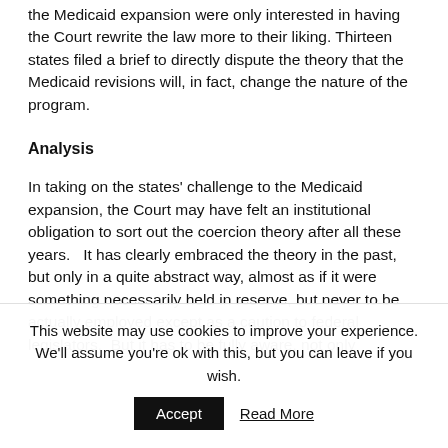the Medicaid expansion were only interested in having the Court rewrite the law more to their liking. Thirteen states filed a brief to directly dispute the theory that the Medicaid revisions will, in fact, change the nature of the program.
Analysis
In taking on the states’ challenge to the Medicaid expansion, the Court may have felt an institutional obligation to sort out the coercion theory after all these years.   It has clearly embraced the theory in the past, but only in a quite abstract way, almost as if it were something necessarily held in reserve, but never to be actually employed except as a caution to federal legislators.  But it has to be fully aware, not only
This website may use cookies to improve your experience. We'll assume you're ok with this, but you can leave if you wish.
Accept
Read More